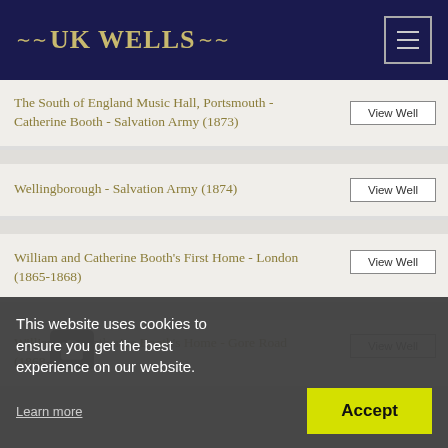UK WELLS
The South of England Music Hall, Portsmouth - Catherine Booth - Salvation Army (1873)
Wellingborough - Salvation Army (1874)
William and Catherine Booth's First Home - London (1865-1868)
William and Catherine Booth's Home - Gore Road (1868-1880)
This website uses cookies to ensure you get the best experience on our website.
Learn more
Accept